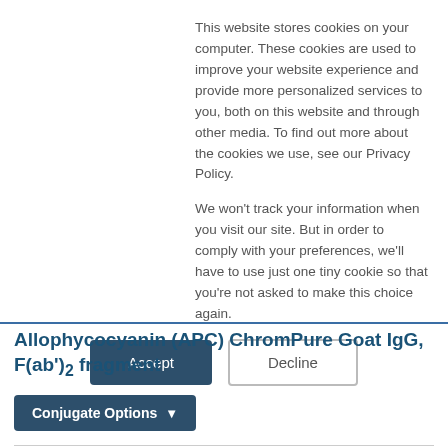This website stores cookies on your computer. These cookies are used to improve your website experience and provide more personalized services to you, both on this website and through other media. To find out more about the cookies we use, see our Privacy Policy.
We won't track your information when you visit our site. But in order to comply with your preferences, we'll have to use just one tiny cookie so that you're not asked to make this choice again.
Accept | Decline
Allophycocyanin (APC) ChromPure Goat IgG, F(ab')2 fragment
Conjugate Options
Host: Goat
Product: IgG, F(ab')2 fragment
Conjugate: Allophycocyanin (APC)
Product Category: ChromPure™ Purified Proteins from Normal